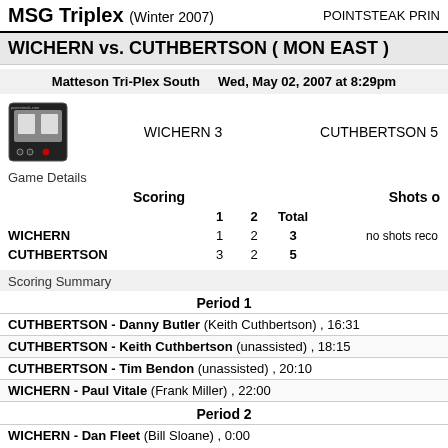MSG Triplex (Winter 2007)   POINTSTEAK PRIN
WICHERN vs. CUTHBERTSON ( MON EAST )
Matteson Tri-Plex South   Wed, May 02, 2007 at 8:29pm
WICHERN 3   CUTHBERTSON 5
Game Details
|  | 1 | 2 | Total |
| --- | --- | --- | --- |
| WICHERN | 1 | 2 | 3 |
| CUTHBERTSON | 3 | 2 | 5 |
Scoring Summary
Period 1
CUTHBERTSON - Danny Butler (Keith Cuthbertson) , 16:31
CUTHBERTSON - Keith Cuthbertson (unassisted) , 18:15
CUTHBERTSON - Tim Bendon (unassisted) , 20:10
WICHERN - Paul Vitale (Frank Miller) , 22:00
Period 2
WICHERN - Dan Fleet (Bill Sloane) , 0:00